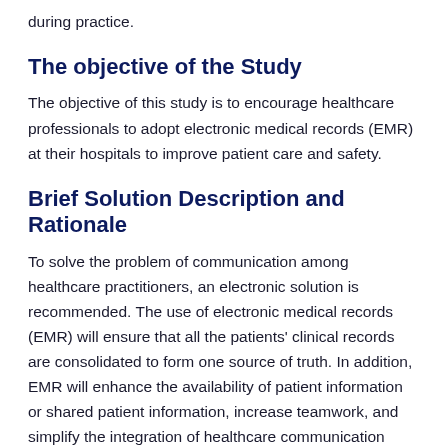during practice.
The objective of the Study
The objective of this study is to encourage healthcare professionals to adopt electronic medical records (EMR) at their hospitals to improve patient care and safety.
Brief Solution Description and Rationale
To solve the problem of communication among healthcare practitioners, an electronic solution is recommended. The use of electronic medical records (EMR) will ensure that all the patients' clinical records are consolidated to form one source of truth. In addition, EMR will enhance the availability of patient information or shared patient information, increase teamwork, and simplify the integration of healthcare communication systems. In a